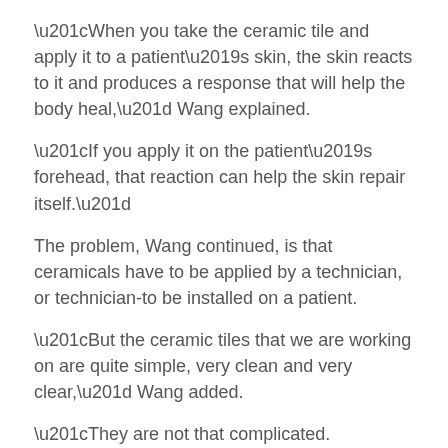“When you take the ceramic tile and apply it to a patient’s skin, the skin reacts to it and produces a response that will help the body heal,” Wang explained.
“If you apply it on the patient’s forehead, that reaction can help the skin repair itself.”
The problem, Wang continued, is that ceramicals have to be applied by a technician, or technician-to be installed on a patient.
“But the ceramic tiles that we are working on are quite simple, very clean and very clear,” Wang added.
“They are not that complicated.
They’re not very complex.”
The tiles can be applied to virtually any surface, he noted.